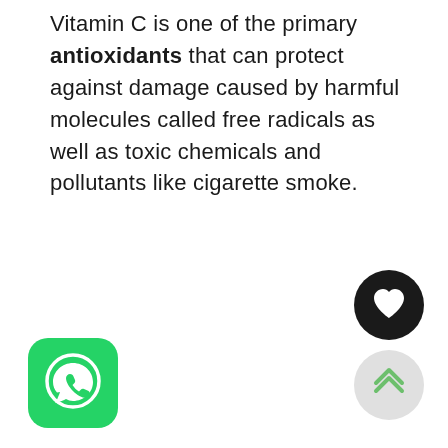Vitamin C is one of the primary antioxidants that can protect against damage caused by harmful molecules called free radicals as well as toxic chemicals and pollutants like cigarette smoke.
[Figure (logo): WhatsApp app icon — green rounded square with white phone/chat bubble logo]
[Figure (other): Black circular button with white heart icon (favorite/like button)]
[Figure (other): Light gray circular button with green double-chevron up arrow (scroll to top button)]